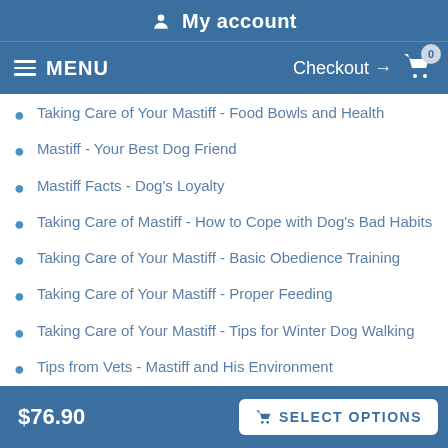My account
MENU  Checkout → 0
Taking Care of Your Mastiff - Food Bowls and Health
Mastiff - Your Best Dog Friend
Mastiff Facts - Dog's Loyalty
Taking Care of Mastiff - How to Cope with Dog's Bad Habits
Taking Care of Your Mastiff - Basic Obedience Training
Taking Care of Your Mastiff - Proper Feeding
Taking Care of Your Mastiff - Tips for Winter Dog Walking
Tips from Vets - Mastiff and His Environment
Tips from Vets - Mastiff Sleep Facts
$76.90   SELECT OPTIONS